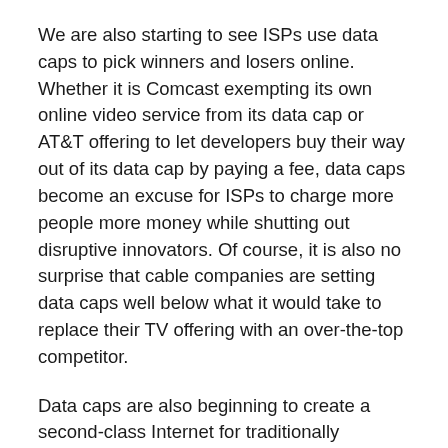We are also starting to see ISPs use data caps to pick winners and losers online. Whether it is Comcast exempting its own online video service from its data cap or AT&T offering to let developers buy their way out of its data cap by paying a fee, data caps become an excuse for ISPs to charge more people more money while shutting out disruptive innovators. Of course, it is also no surprise that cable companies are setting data caps well below what it would take to replace their TV offering with an over-the-top competitor.
Data caps are also beginning to create a second-class Internet for traditionally disenfranchised communities. Low-income communities, rural communities, and communities of color are increasingly relying on wireless internet connections as their only internet connection. Single digit data caps make it unreasonable to expect these connections to be used to access the “real,” data rich, Internet.